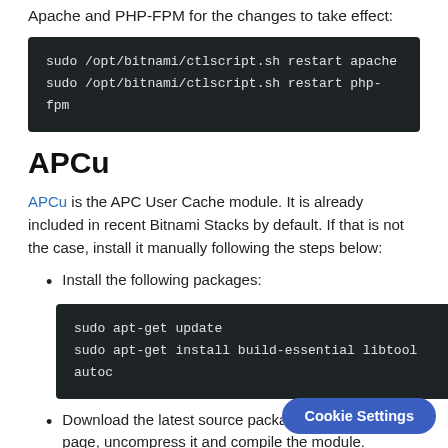Apache and PHP-FPM for the changes to take effect:
[Figure (screenshot): Dark terminal code block showing: sudo /opt/bitnami/ctlscript.sh restart apache
sudo /opt/bitnami/ctlscript.sh restart php-fpm]
APCu
APCu is the APC User Cache module. It is already included in recent Bitnami Stacks by default. If that is not the case, install it manually following the steps below:
Install the following packages:
[Figure (screenshot): Dark terminal code block showing: sudo apt-get update
sudo apt-get install build-essential libtool autoc...]
Download the latest source package from the web page, uncompress it and compile the module.
[Figure (screenshot): Dark terminal code block showing: wget https://pecl.php.net/...
tar xzf apcu-X.Y.Z.tgz]
Cookie Settings